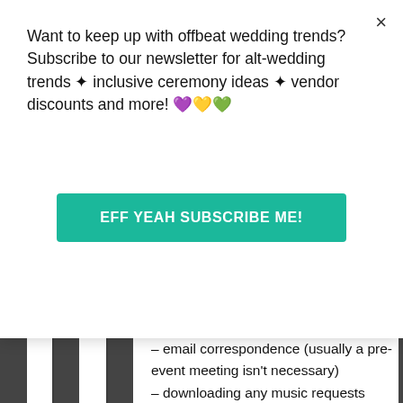Want to keep up with offbeat wedding trends?Subscribe to our newsletter for alt-wedding trends • inclusive ceremony ideas • vendor discounts and more! 💜💛💚
EFF YEAH SUBSCRIBE ME!
– email correspondence (usually a pre-event meeting isn't necessary)
– downloading any music requests
– preparing event-specific music folders
– getting equipment ready (usually much more casual events so clothing/makeup doesn't take the same amount of time)
– travel to the event.
That's usually less than 4 hours of prep. And when I get to the event, I don't need to run around coordinating with a wedding planner or parents or bridal party to make sure...